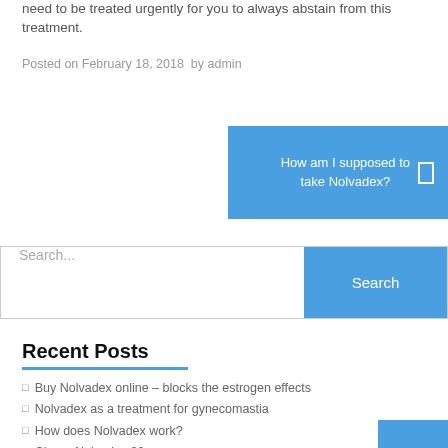need to be treated urgently for you to always abstain from this treatment.
Posted on February 18, 2018  by admin
How am I supposed to take Nolvadex?
Search...
Recent Posts
Buy Nolvadex online – blocks the estrogen effects
Nolvadex as a treatment for gynecomastia
How does Nolvadex work?
Cheap Nolvadex 20mg
Buy Tamoxifen No Prescription